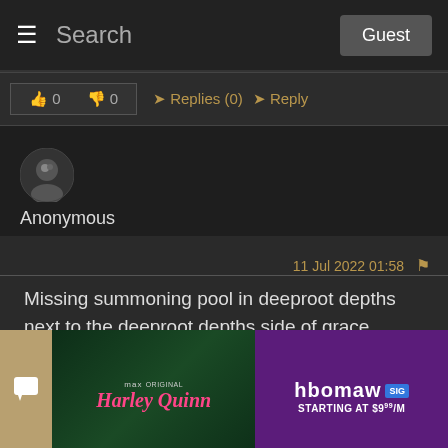Search  Guest
0  0  Replies (0)  Reply
[Figure (illustration): Anonymous user avatar - dark circular profile picture]
Anonymous
11 Jul 2022 01:58
Missing summoning pool in deeproot depths next to the deeproot depths side of grace.
1  0  Replies (0)  Reply
[Figure (illustration): HBO Max advertisement banner - Harley Quinn show, starting at $9/month]